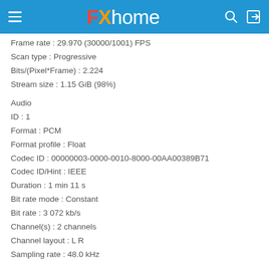FXhome
Frame rate : 29.970 (30000/1001) FPS
Scan type : Progressive
Bits/(Pixel*Frame) : 2.224
Stream size : 1.15 GiB (98%)
Audio
ID : 1
Format : PCM
Format profile : Float
Codec ID : 00000003-0000-0010-8000-00AA00389B71
Codec ID/Hint : IEEE
Duration : 1 min 11 s
Bit rate mode : Constant
Bit rate : 3 072 kb/s
Channel(s) : 2 channels
Channel layout : L R
Sampling rate : 48.0 kHz